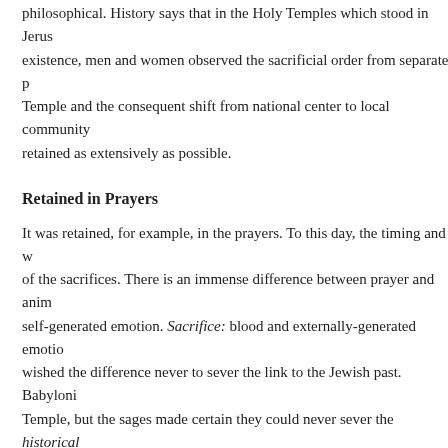philosophical. History says that in the Holy Temples which stood in Jerusalem during their existence, men and women observed the sacrificial order from separate precincts. With the loss of the Temple and the consequent shift from national center to local community, this separation was retained as extensively as possible.
Retained in Prayers
It was retained, for example, in the prayers. To this day, the timing and wording reflect those of the sacrifices. There is an immense difference between prayer and animal sacrifice: Prayer: self-generated emotion. Sacrifice: blood and externally-generated emotion. The sages wished the difference never to sever the link to the Jewish past. Babylonian exile destroyed the Temple, but the sages made certain they could never sever the historical link. Two daily prayers (shacharit and minchah) are timed to correspond to the hours when the morning and afternoon Temple. The musaf prayers added to Sabbath and holiday services correspond to the sacrificial themes, reflected in the prayers' wording. In sum: Services. The word avodah is an adaptation of the word used to connote the sacrificial order, avodah. Prayer corresponds to sacrifice. As men observed the services in the Temple from different precincts, so too, they
That's History.
Now there's philosophy. Even though faith is self-validating, beyond rea